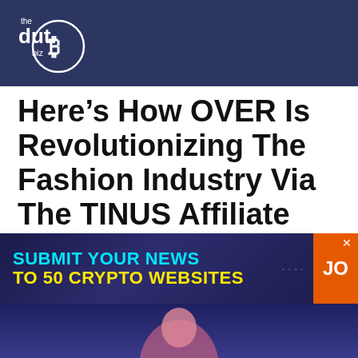the dut.B biz
Here’s How OVER Is Revolutionizing The Fashion Industry Via The TINUS Affiliate Program 🔥 1530
Mark Rohman
[Figure (infographic): Advertisement banner: SUBMIT YOUR NEWS TO 50 CRYPTO WEBSITES with a JO button on the right]